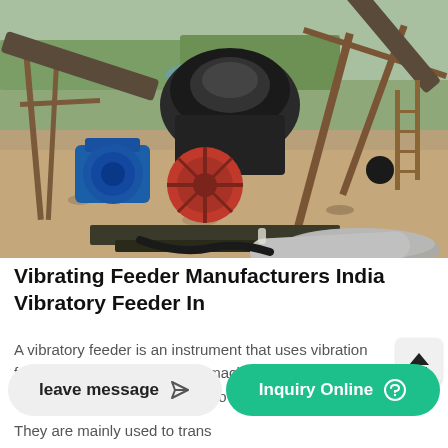[Figure (photo): Outdoor industrial site showing a vibrating feeder / cone crusher machine with a blue electric motor, red flywheel, metal frame structure, conveyor belts in the background, and a rocky/dusty ground.]
Vibrating Feeder Manufacturers India Vibratory Feeder In
A vibratory feeder is an instrument that uses vibration feed material to a process or machine. Vibratory feeders use both vibration and gravity to move material. Gravity is
They are mainly used to trans